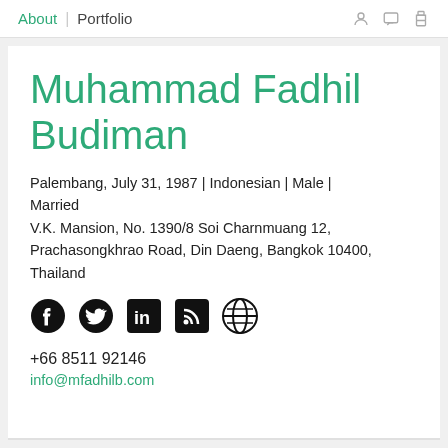About | Portfolio
Muhammad Fadhil Budiman
Palembang, July 31, 1987 | Indonesian | Male | Married
V.K. Mansion, No. 1390/8 Soi Charnmuang 12, Prachasongkhrao Road, Din Daeng, Bangkok 10400, Thailand
[Figure (other): Social media icons: Facebook, Twitter, LinkedIn, RSS, Globe/Website]
+66 8511 92146
info@mfadhilb.com